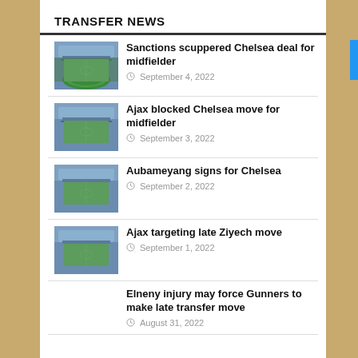TRANSFER NEWS
Sanctions scuppered Chelsea deal for midfielder
September 4, 2022
Ajax blocked Chelsea move for midfielder
September 3, 2022
Aubameyang signs for Chelsea
September 2, 2022
Ajax targeting late Ziyech move
September 1, 2022
Elneny injury may force Gunners to make late transfer move
August 31, 2022